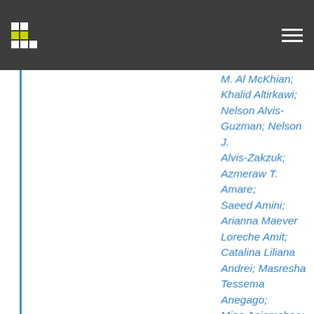M. Al McRhian; Khalid Altirkawi; Nelson Alvis-Guzman; Nelson J. Alvis-Zakzuk; Azmeraw T. Amare; Saeed Amini; Arianna Maever Loreche Amit; Catalina Liliana Andrei; Masresha Tessema Anegago; Mina Anjomshoa; Fereshteh Ansari; Carl Abelardo T. Antonio; Ernoiz Antriyandarti; Seth Christopher Yaw Appiah; Jalal Arabloo; Olatunde